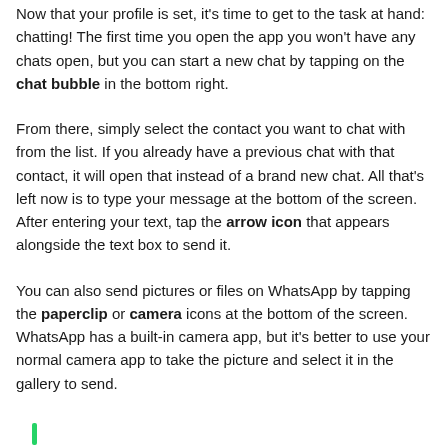Now that your profile is set, it's time to get to the task at hand: chatting! The first time you open the app you won't have any chats open, but you can start a new chat by tapping on the chat bubble in the bottom right.
From there, simply select the contact you want to chat with from the list. If you already have a previous chat with that contact, it will open that instead of a brand new chat. All that's left now is to type your message at the bottom of the screen. After entering your text, tap the arrow icon that appears alongside the text box to send it.
You can also send pictures or files on WhatsApp by tapping the paperclip or camera icons at the bottom of the screen. WhatsApp has a built-in camera app, but it's better to use your normal camera app to take the picture and select it in the gallery to send.